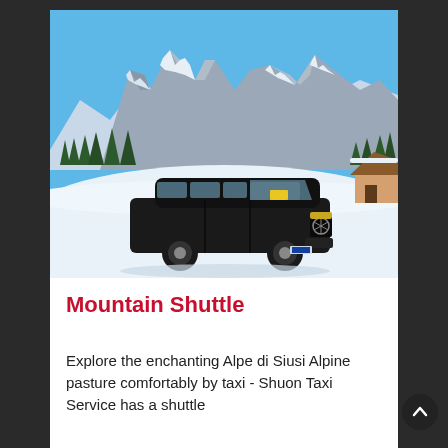[Figure (photo): A black Mercedes-Benz V-Class luxury van parked on a snowy alpine plateau with dramatic Dolomite mountain peaks in the background under a clear blue sky. The vehicle is dark/black in color with the Mercedes star logo visible on the front grille.]
Mountain Shuttle
Explore the enchanting Alpe di Siusi Alpine pasture comfortably by taxi - Shuon Taxi Service has a shuttle